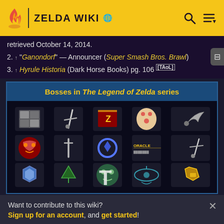ZELDA WIKI
retrieved October 14, 2014.
2. ↑ "Ganondorf" — Announcer (Super Smash Bros. Brawl)
3. ↑ Hyrule Historia (Dark Horse Books) pg. 106 [TAoL]
Bosses in The Legend of Zelda series
[Figure (other): Grid of game icons representing different Zelda games/entries in the Bosses navigation table]
Want to contribute to this wiki? Sign up for an account, and get started! Come join the Zelda Wiki community Discord server!